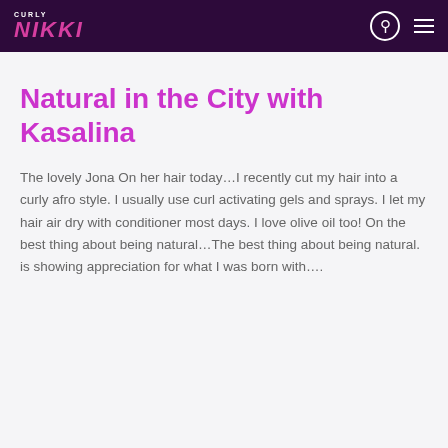CURLY NIKKI
Natural in the City with Kasalina
The lovely Jona On her hair today…I recently cut my hair into a curly afro style. I usually use curl activating gels and sprays. I let my hair air dry with conditioner most days. I love olive oil too! On the best thing about being natural…The best thing about being natural. is showing appreciation for what I was born with….